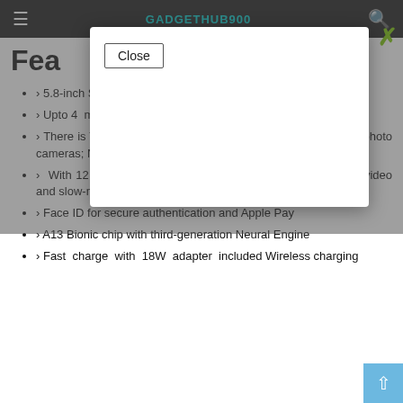GADGETHUB900
[Figure (screenshot): Modal dialog box with a Close button, overlaying the page content]
Features
> 5.8-inch Super Retina XDR OLED display
> Upto 4 metres for 30 minutes it is water and dust resistant
> There is Triple-camera with 12MP Ultra Wide, Wide, and Telephoto cameras; Night mode, Portrait mode, and 4K video
> With 12 MP front camera you can shoot portrait mode, 4K video and slow-mo
> Face ID for secure authentication and Apple Pay
> A13 Bionic chip with third-generation Neural Engine
> Fast charge with 18W adapter included Wireless charging